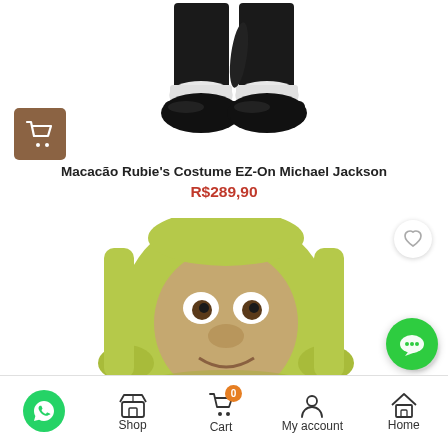[Figure (photo): Close-up of black pants and black shoes with white ankle socks from a Michael Jackson costume, shown on white background]
[Figure (photo): Shopping cart icon in white on brown/tan square background]
Macacão Rubie's Costume EZ-On Michael Jackson
R$289,90
[Figure (photo): Child wearing a Shrek costume with green hood/mask showing large ears and face, looking at camera]
Shop  Cart  My account  Home